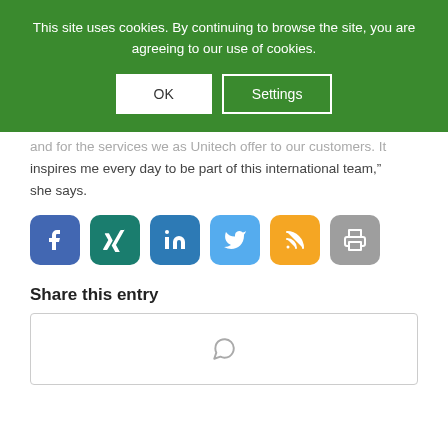This site uses cookies. By continuing to browse the site, you are agreeing to our use of cookies.
OK | Settings
and for the services we as Unitech offer to our customers. It inspires me every day to be part of this international team,” she says.
[Figure (other): Social media sharing icons: Facebook, Xing, LinkedIn, Twitter, RSS, Print]
Share this entry
[Figure (other): WhatsApp share button with phone/chat icon]